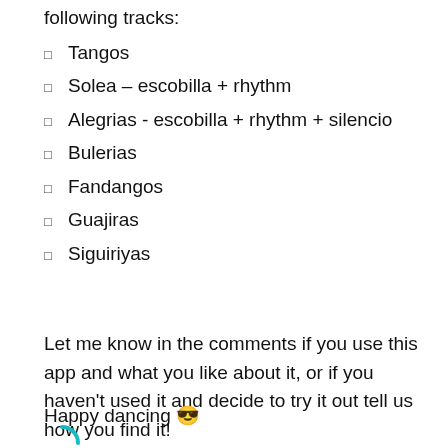following tracks:
Tangos
Solea – escobilla + rhythm
Alegrias - escobilla + rhythm + silencio
Bulerias
Fandangos
Guajiras
Siguiriyas
Let me know in the comments if you use this app and what you like about it, or if you haven't used it and decide to try it out tell us how you find it!
Happy dancing 😎
[Figure (illustration): Partial circular icon/logo in teal/cyan color visible at bottom of page]